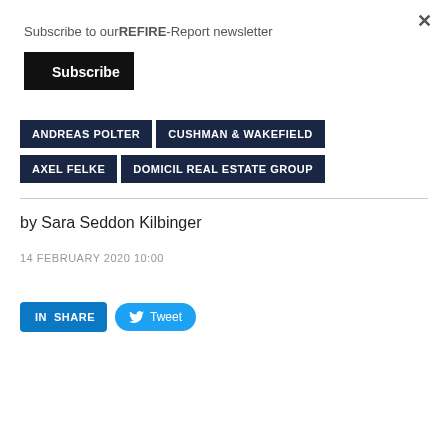Subscribe to ourREFIRE-Report newsletter
Subscribe
ANDREAS POLTER
CUSHMAN & WAKEFIELD
AXEL FELKE
DOMICIL REAL ESTATE GROUP
by Sara Seddon Kilbinger
14 FEBRUARY 2020 10:00
SHARE
Tweet